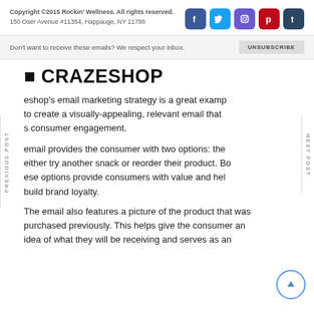Copyright ©2015 Rockin' Wellness. All rights reserved.
150 Oser Avenue #11354, Happauge, NY 11788
Don't want to receive these emails? We respect your inbox.
CRAZESHOP
eshop's email marketing strategy is a great example to create a visually-appealing, relevant email that s consumer engagement.
email provides the consumer with two options: the either try another snack or reorder their product. Both these options provide consumers with value and help build brand loyalty.
The email also features a picture of the product that was purchased previously. This helps give the consumer an idea of what they will be receiving and serves as an